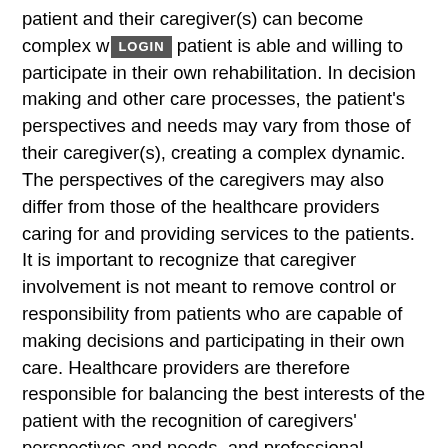patient and their caregiver(s) can become complex when the patient is able and willing to participate in their own rehabilitation. In decision making and other care processes, the patient's perspectives and needs may vary from those of their caregiver(s), creating a complex dynamic. The perspectives of the caregivers may also differ from those of the healthcare providers caring for and providing services to the patients. It is important to recognize that caregiver involvement is not meant to remove control or responsibility from patients who are capable of making decisions and participating in their own care. Healthcare providers are therefore responsible for balancing the best interests of the patient with the recognition of caregivers' perspectives and needs, and professional expertise (Allen & Petr, 1998).
This complexity also extends to the rehabilitation setting itself. A rehabilitation setting encompasses professionals from a multitude of disciplines and various other important stakeholders. Rehabilitation for patients with TBI involves a